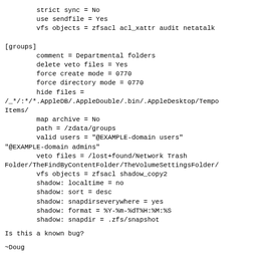strict sync = No
        use sendfile = Yes
        vfs objects = zfsacl acl_xattr audit netatalk

[groups]
        comment = Departmental folders
        delete veto files = Yes
        force create mode = 0770
        force directory mode = 0770
        hide files =
/_*/:*/*.AppleDB/.AppleDouble/.bin/.AppleDesktop/TemporItems/
        map archive = No
        path = /zdata/groups
        valid users = "@EXAMPLE-domain users"
"@EXAMPLE-domain admins"
        veto files = /lost+found/Network Trash Folder/TheFindByContentFolder/TheVolumeSettingsFolder/
        vfs objects = zfsacl shadow_copy2
        shadow: localtime = no
        shadow: sort = desc
        shadow: snapdirseverywhere = yes
        shadow: format = %Y-%m-%dT%H:%M:%S
        shadow: snapdir = .zfs/snapshot
Is this a known bug?
~Doug